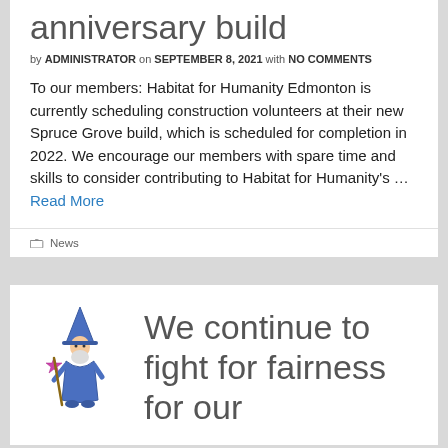anniversary build
by ADMINISTRATOR on SEPTEMBER 8, 2021 with NO COMMENTS
To our members: Habitat for Humanity Edmonton is currently scheduling construction volunteers at their new Spruce Grove build, which is scheduled for completion in 2022. We encourage our members with spare time and skills to consider contributing to Habitat for Humanity's … Read More
News
[Figure (illustration): Wizard character in blue robe holding a staff with a star, cartoon style illustration]
We continue to fight for fairness for our